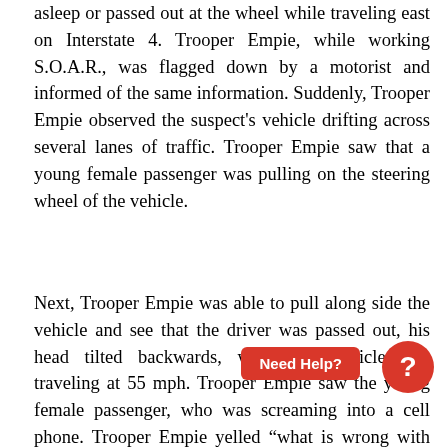asleep or passed out at the wheel while traveling east on Interstate 4. Trooper Empie, while working S.O.A.R., was flagged down by a motorist and informed of the same information. Suddenly, Trooper Empie observed the suspect's vehicle drifting across several lanes of traffic. Trooper Empie saw that a young female passenger was pulling on the steering wheel of the vehicle.
Next, Trooper Empie was able to pull along side the vehicle and see that the driver was passed out, his head tilted backwards, while the vehicle was traveling at 55 mph. Trooper Empie saw the young female passenger, who was screaming into a cell phone. Trooper Empie yelled “what is wrong with him” to the female passenger, and she replied Empie then slowed down and pulled along side the passenger’s side of the vehicle and motioned to the